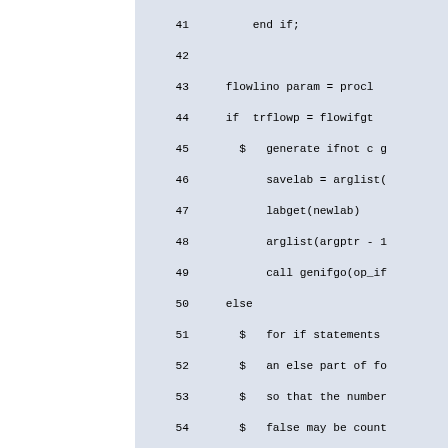[Figure (screenshot): Source code listing showing lines 41-72 of a program, displayed in monospace font on a light blue-grey background. The code contains control flow constructs including if/else statements, procedure calls like labget, arglist, genifgo, pushname, endblock, pushint, sdsnamr, getxsds, and comments marked with $. Line numbers appear in the left margin.]